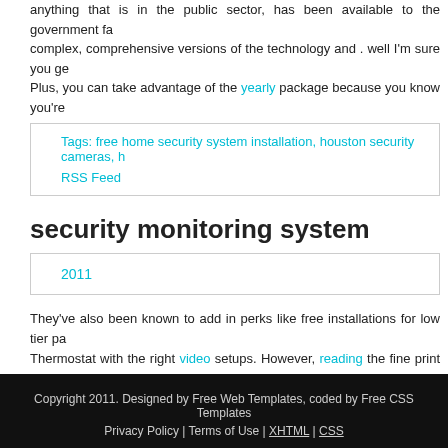anything that is in the public sector, has been available to the government far complex, comprehensive versions of the technology and . well I'm sure you ge Plus, you can take advantage of the yearly package because you know you're
Tags: free home security system installation, houston security cameras, h
RSS Feed
security monitoring system
2011
They've also been known to add in perks like free installations for low tier pa Thermostat with the right video setups. However, reading the fine print is impo of the most restrictive contracts in the business. Most DIY home security p monitoring for agents to watch after your home at all times. When a hom monitored, a specialist from the monitoring company is ready to respond w activity triggers the alarm, a professional will attempt to contact you and a home. The cost of professional monitoring may range from $10/mo.
Tags: wireless home security, elderly alert devices, security systems minnes RSS Feed
Copyright 2011. Designed by Free Web Templates, coded by Free CSS Templates Privacy Policy | Terms of Use | XHTML | CSS